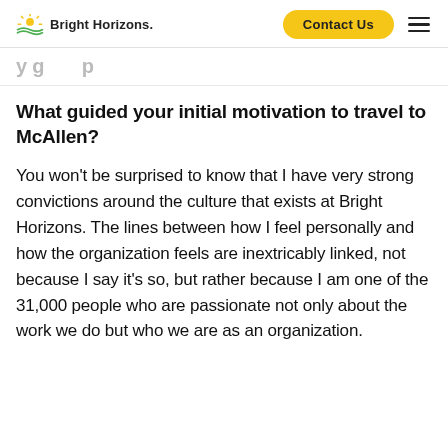Bright Horizons | Contact Us
y g p
What guided your initial motivation to travel to McAllen?
You won't be surprised to know that I have very strong convictions around the culture that exists at Bright Horizons. The lines between how I feel personally and how the organization feels are inextricably linked, not because I say it's so, but rather because I am one of the 31,000 people who are passionate not only about the work we do but who we are as an organization.